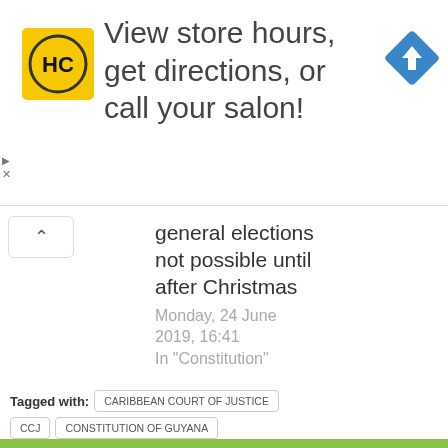[Figure (screenshot): Advertisement banner: HC logo (yellow square with HC text), ad text 'View store hours, get directions, or call your salon!', blue navigation diamond icon on the right.]
general elections not possible until after Christmas
Monday, 24 June 2019, 16:41
In "Constitution"
Tagged with: CARIBBEAN COURT OF JUSTICE  CCJ  CONSTITUTION OF GUYANA  CONSTITUTIONALITY  GECOM  GENERAL AND REGIONAL ELECTIONS  GUYANA ELECTIONS COMMISSION  NO CONFIDENCE MOTION  VOTERS' LIST